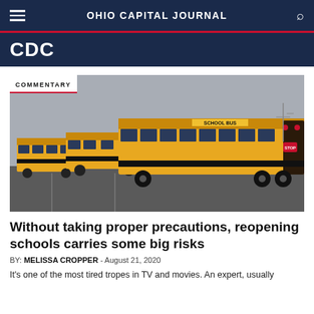OHIO CAPITAL JOURNAL
CDC
[Figure (photo): A row of yellow school buses parked in a lot under an overcast sky, with a 'COMMENTARY' badge overlaid in the top-left corner.]
Without taking proper precautions, reopening schools carries some big risks
BY: MELISSA CROPPER - August 21, 2020
It's one of the most tired tropes in TV and movies. An expert, usually